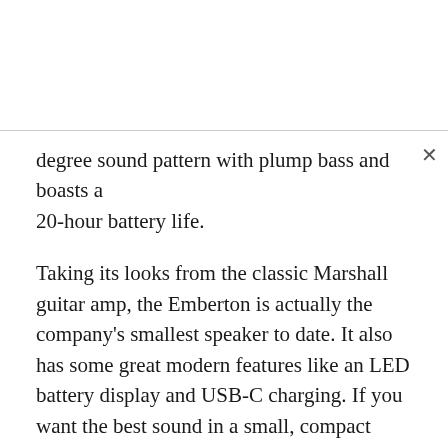degree sound pattern with plump bass and boasts a 20-hour battery life.
Taking its looks from the classic Marshall guitar amp, the Emberton is actually the company's smallest speaker to date. It also has some great modern features like an LED battery display and USB-C charging. If you want the best sound in a small, compact package, the Marshall Emberton offers the best sound and battery for the price.